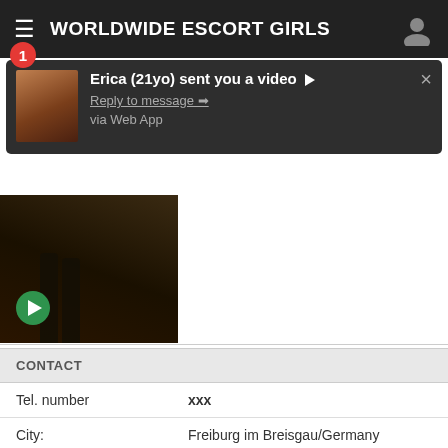WORLDWIDE ESCORT GIRLS
[Figure (screenshot): Mobile app notification popup showing: Erica (21yo) sent you a video. Reply to message. via Web App. With a thumbnail of a person.]
[Figure (photo): Video thumbnail showing two people, with a green play button overlay.]
CONTACT
| Tel. number | xxx |
| City: | Freiburg im Breisgau/Germany |
| Last seen: | Today in 18:23 |
| Yesterday: | 17:59 |
| Incall/Outcall: | Incall & Outcall |
| Foreign | EnglishFrench, German, Spanish, Portugese |